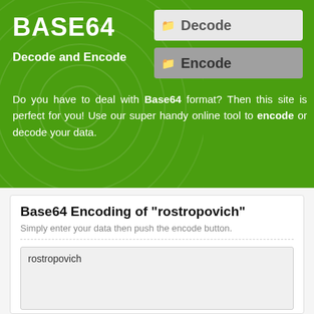BASE64
Decode and Encode
[Figure (screenshot): Decode button - light gray rounded rectangle with folder icon and text 'Decode']
[Figure (screenshot): Encode button - darker gray rounded rectangle with folder icon and text 'Encode']
Do you have to deal with Base64 format? Then this site is perfect for you! Use our super handy online tool to encode or decode your data.
Base64 Encoding of "rostropovich"
Simply enter your data then push the encode button.
rostropovich